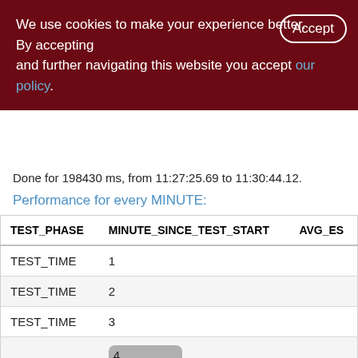We use cookies to make your experience better. By accepting and further navigating this website you accept our policy.
Done for 198430 ms, from 11:27:25.69 to 11:30:44.12.
Performance for every MINUTE:
| TEST_PHASE | MINUTE_SINCE_TEST_START | AVG_ES... |
| --- | --- | --- |
| TEST_TIME | 1 |  |
| TEST_TIME | 2 |  |
| TEST_TIME | 3 |  |
| TEST_TIME | 4 |  |
| TEST_TIME | 5 |  |
| TEST_TIME | 6 |  |